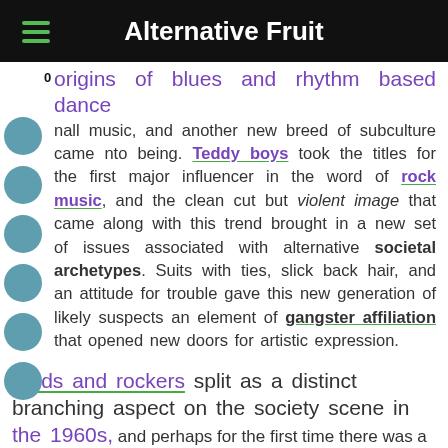Alternative Fruit
origins of blues and rhythm based dance nall music, and another new breed of subculture came nto being. Teddy boys took the titles for the first major influencer in the word of rock music, and the clean cut but violent image that came along with this trend brought in a new set of issues associated with alternative societal archetypes. Suits with ties, slick back hair, and an attitude for trouble gave this new generation of likely suspects an element of gangster affiliation that opened new doors for artistic expression.
Mods and rockers split as a distinct branching aspect on the society scene in the 1960s, and perhaps for the first time there was a